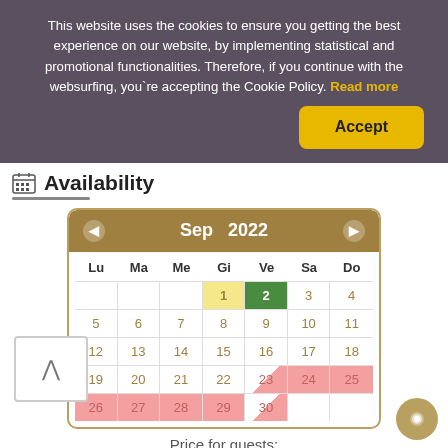This website uses the cookies to ensure you getting the best experience on our website, by implementing statistical and promotional functionalities. Therefore, if you continue with the websurfing, you`re accepting the Cookie Policy. Read more
Accept
Availability
[Figure (other): September 2022 availability calendar with navigation arrows. Days 1 highlighted in yellow, 2 highlighted in green (today/selected). Days 23-25 and 26-30 shown with pink/red unavailability highlighting. Day 23 has diagonal split pink. Weekday headers: Lu Ma Me Gi Ve Sa Do.]
Price for guests: